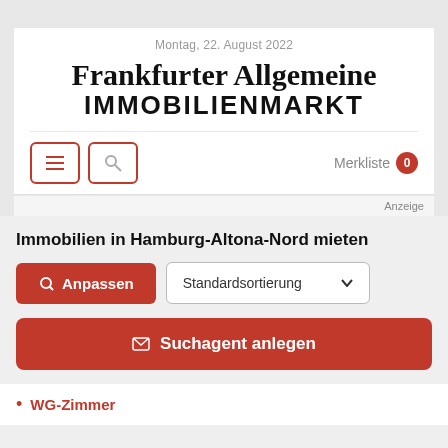Montag, 22. August 2022
Frankfurter Allgemeine IMMOBILIENMARKT
Merkliste 0
Anzeige
Immobilien in Hamburg-Altona-Nord mieten
Anpassen  Standardsortierung
Suchagent anlegen
WG-Zimmer